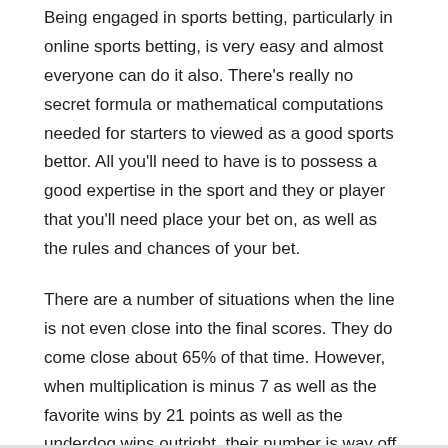Being engaged in sports betting, particularly in online sports betting, is very easy and almost everyone can do it also. There's really no secret formula or mathematical computations needed for starters to viewed as a good sports bettor. All you'll need to have is to possess a good expertise in the sport and they or player that you'll need place your bet on, as well as the rules and chances of your bet.
There are a number of situations when the line is not even close into the final scores. They do come close about 65% of that time. However, when multiplication is minus 7 as well as the favorite wins by 21 points as well as the underdog wins outright, their number is way off.
Remember, always try liposuction costs up required information anyone decide to bet, and hear the odds given by various websites for exact same game arriving in leverage.